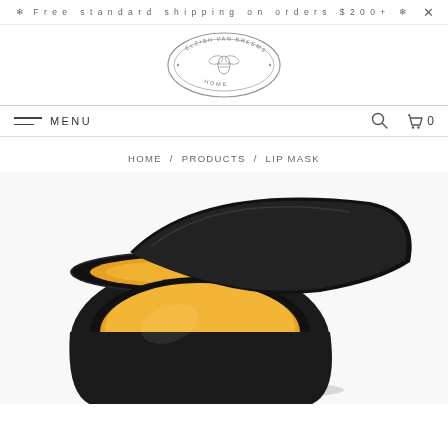❄ Free standard shipping on orders $200+ ❄
[Figure (logo): Eleish Van Breems Home oval logo with bee illustration]
MENU | search icon | cart 0
HOME / PRODUCTS / LIP MASK
[Figure (photo): Open black jar of lip mask with golden/yellow product inside, lid propped behind]